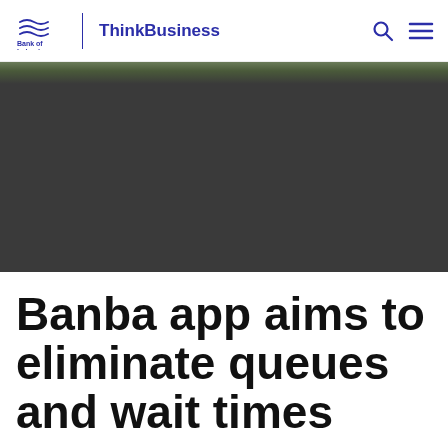Bank of Ireland | ThinkBusiness
[Figure (photo): Partially visible outdoor photo (top cropped) showing foliage/greenery against a dark background, large dark overlay covers most of image]
Banba app aims to eliminate queues and wait times